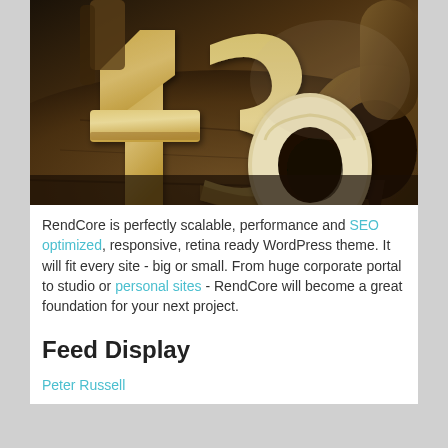[Figure (photo): Photo of wooden 3D typographic numbers and letters (4, 3, 0) arranged on a wooden surface, warm brown tones, artistic composition]
RendCore is perfectly scalable, performance and SEO optimized, responsive, retina ready WordPress theme. It will fit every site - big or small. From huge corporate portal to studio or personal sites - RendCore will become a great foundation for your next project.
Feed Display
Peter Russell